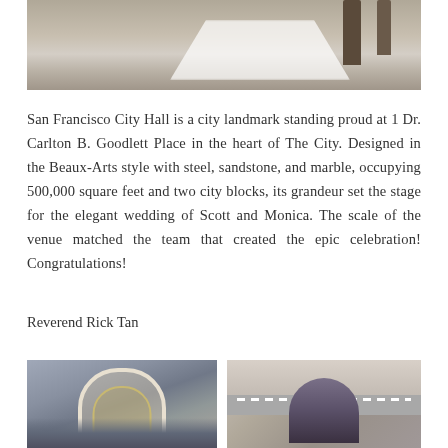[Figure (photo): Top portion of a wedding photo showing a bride's veil blowing in the wind near a waterfront with wooden posts/pilings]
San Francisco City Hall is a city landmark standing proud at 1 Dr. Carlton B. Goodlett Place in the heart of The City. Designed in the Beaux-Arts style with steel, sandstone, and marble, occupying 500,000 square feet and two city blocks, its grandeur set the stage for the elegant wedding of Scott and Monica. The scale of the venue matched the team that created the epic celebration! Congratulations!
Reverend Rick Tan
[Figure (photo): Wedding group photo in front of San Francisco City Hall with a large ornate arched entrance, bride and groom surrounded by wedding party and guests]
[Figure (photo): Bride and groom kissing on the street in San Francisco, groom in dark suit, bride in white dress with flowers]